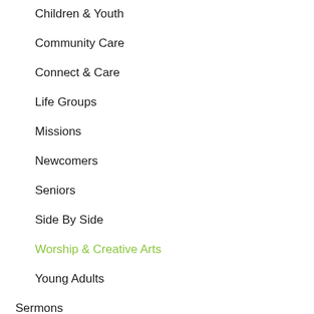Children & Youth
Community Care
Connect & Care
Life Groups
Missions
Newcomers
Seniors
Side By Side
Worship & Creative Arts
Young Adults
Sermons
BBC Cares
Giving